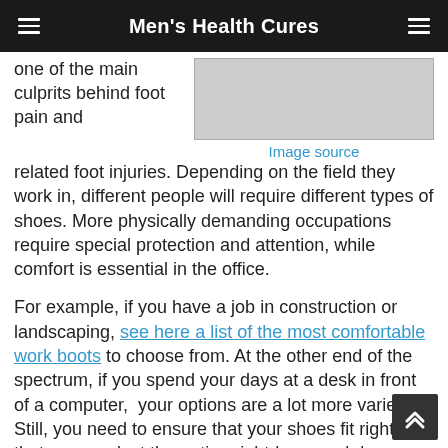Men's Health Cures
one of the main culprits behind foot pain and related foot injuries. Depending on the field they work in, different people will require different types of shoes. More physically demanding occupations require special protection and attention, while comfort is essential in the office.
[Figure (photo): Partial image of a shoe/boot, black and white photo, cropped]
Image source
For example, if you have a job in construction or landscaping, see here a list of the most comfortable work boots to choose from. At the other end of the spectrum, if you spend your days at a desk in front of a computer, your options are a lot more varied. Still, you need to ensure that your shoes fit right so that you can last the entire eight-hour workday unharmed.